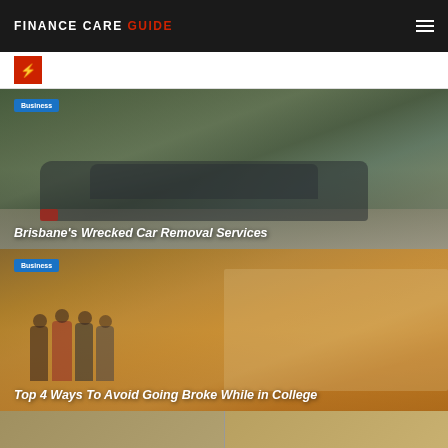FINANCE CARE GUIDE
[Figure (logo): Finance Care Guide logo with red accent letters]
[Figure (illustration): Lightning bolt icon in red square]
[Figure (photo): Photo of a wrecked/damaged car with green foliage background, tinted green-gray]
Brisbane's Wrecked Car Removal Services
[Figure (photo): Photo of college students in a hallway, tinted orange/amber]
Top 4 Ways To Avoid Going Broke While in College